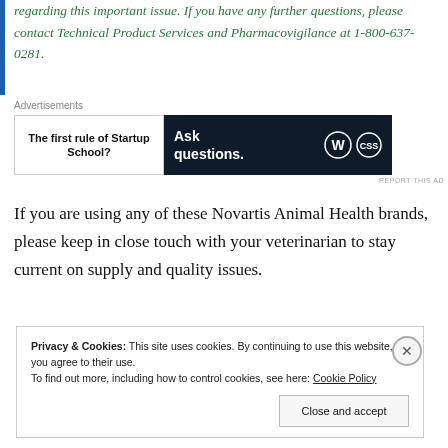regarding this important issue. If you have any further questions, please contact Technical Product Services and Pharmacovigilance at 1-800-637-0281.
[Figure (screenshot): Advertisement banner showing 'The first rule of Startup School?' on the left and 'Ask questions.' with WordPress and another logo on a dark background on the right.]
If you are using any of these Novartis Animal Health brands, please keep in close touch with your veterinarian to stay current on supply and quality issues.
Privacy & Cookies: This site uses cookies. By continuing to use this website, you agree to their use.
To find out more, including how to control cookies, see here: Cookie Policy